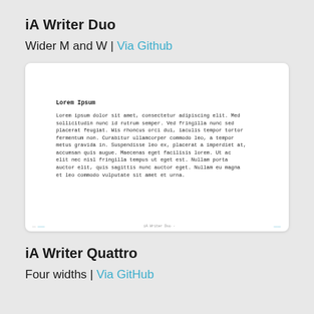iA Writer Duo
Wider M and W | Via Github
[Figure (screenshot): A screenshot of a text editor showing 'Lorem Ipsum' heading and a lorem ipsum paragraph in monospace font on a white background with rounded corners.]
iA Writer Quattro
Four widths | Via GitHub